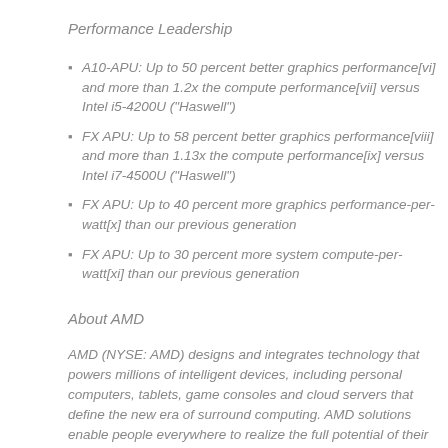Performance Leadership
A10-APU: Up to 50 percent better graphics performance[vi] and more than 1.2x the compute performance[vii] versus Intel i5-4200U ("Haswell")
FX APU: Up to 58 percent better graphics performance[viii] and more than 1.13x the compute performance[ix] versus Intel i7-4500U ("Haswell")
FX APU: Up to 40 percent more graphics performance-per-watt[x] than our previous generation
FX APU: Up to 30 percent more system compute-per-watt[xi] than our previous generation
About AMD
AMD (NYSE: AMD) designs and integrates technology that powers millions of intelligent devices, including personal computers, tablets, game consoles and cloud servers that define the new era of surround computing. AMD solutions enable people everywhere to realize the full potential of their favorite